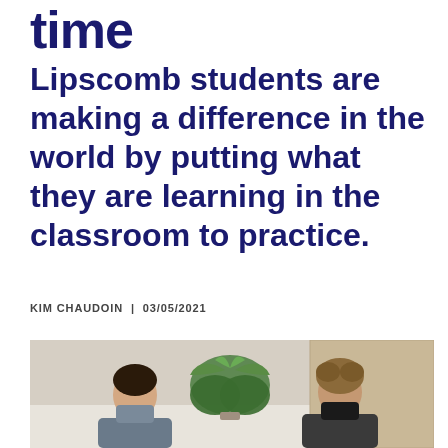time
Lipscomb students are making a difference in the world by putting what they are learning in the classroom to practice.
KIM CHAUDOIN | 03/05/2021
[Figure (photo): Two young people wearing face masks seated in front of a plant in an indoor setting]